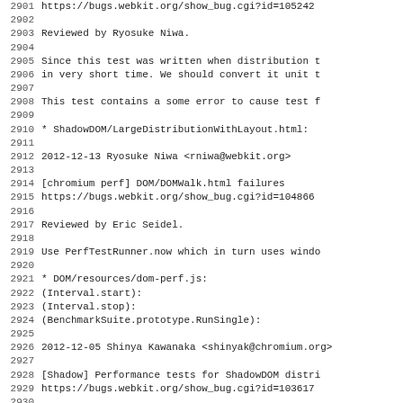Code/changelog lines 2901-2932, showing git log entries for WebKit project including commits by Ryosuke Niwa and Shinya Kawanaka with bug references and code change descriptions.